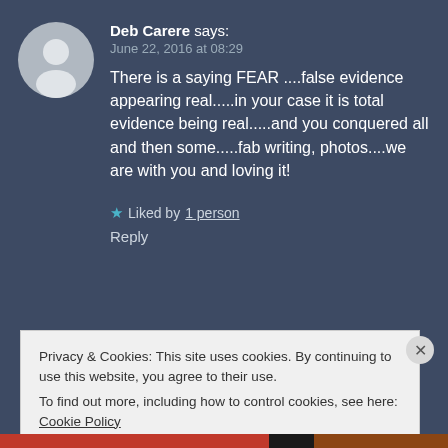[Figure (illustration): Gray circular avatar with silhouette of a person, default user profile image]
Deb Carere says:
June 22, 2016 at 08:29
There is a saying FEAR ....false evidence appearing real.....in your case it is total evidence being real.....and you conquered all and then some.....fab writing, photos....we are with you and loving it!
★ Liked by 1 person
Reply
Privacy & Cookies: This site uses cookies. By continuing to use this website, you agree to their use.
To find out more, including how to control cookies, see here: Cookie Policy
Close and accept